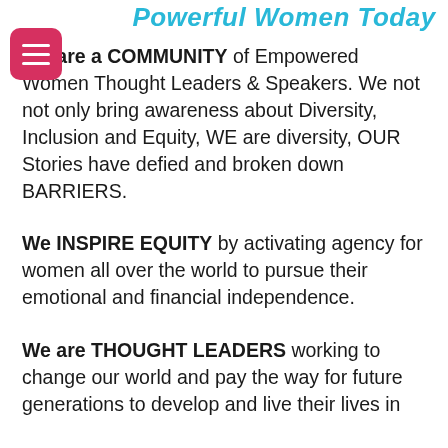Powerful Women Today
We are a COMMUNITY of Empowered Women Thought Leaders & Speakers. We not not only bring awareness about Diversity, Inclusion and Equity, WE are diversity, OUR Stories have defied and broken down BARRIERS.
We INSPIRE EQUITY by activating agency for women all over the world to pursue their emotional and financial independence.
We are THOUGHT LEADERS working to change our world and pay the way for future generations to develop and live their lives in...